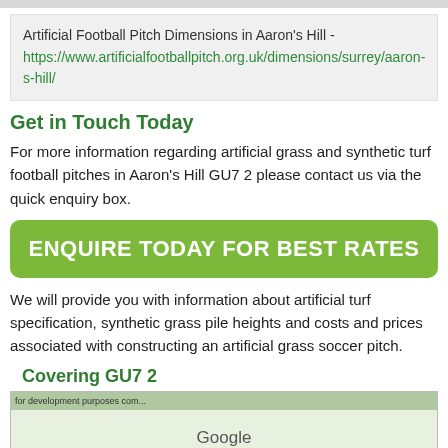Artificial Football Pitch Dimensions in Aaron's Hill - https://www.artificialfootballpitch.org.uk/dimensions/surrey/aaron-s-hill/
Get in Touch Today
For more information regarding artificial grass and synthetic turf football pitches in Aaron's Hill GU7 2 please contact us via the quick enquiry box.
ENQUIRE TODAY FOR BEST RATES
We will provide you with information about artificial turf specification, synthetic grass pile heights and costs and prices associated with constructing an artificial grass soccer pitch.
Covering GU7 2
[Figure (map): Google map showing GU7 2 area coverage]